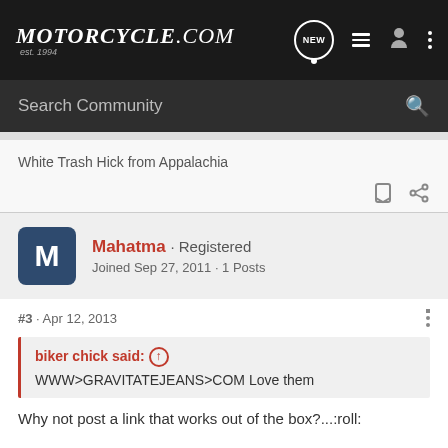Motorcycle.com est. 1994
Search Community
White Trash Hick from Appalachia
Mahatma · Registered
Joined Sep 27, 2011 · 1 Posts
#3 · Apr 12, 2013
biker chick said: ↑
WWW>GRAVITATEJEANS>COM Love them
Why not post a link that works out of the box?...:roll: